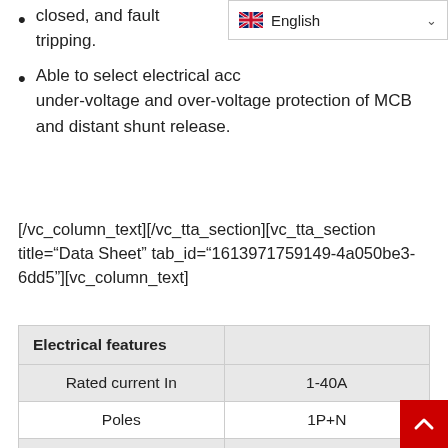closed, and fault tripping.
Able to select electrical accessories including under-voltage and over-voltage protection of MCB and distant shunt release.
[/vc_column_text][/vc_tta_section][vc_tta_section title="Data Sheet" tab_id="1613971759149-4a050be3-6dd5"][vc_column_text]
| Electrical features |  |
| --- | --- |
| Rated current In | 1-40A |
| Poles | 1P+N |
| Rated voltage Ue | 230V |
| Insulation voltage Ui | 400V |
| Rated frequency | 50/60Hz |